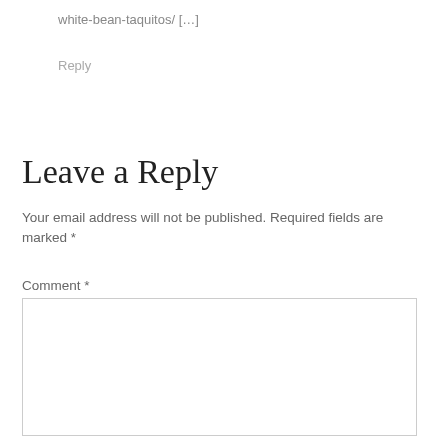white-bean-taquitos/ […]
Reply
Leave a Reply
Your email address will not be published. Required fields are marked *
Comment *